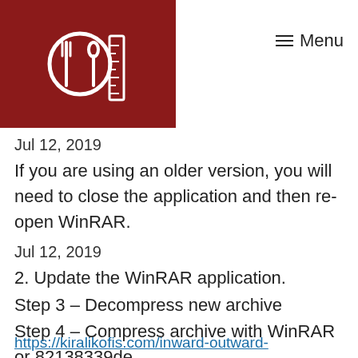[Figure (logo): Dark red square logo with a white plate/fork icon and measurement ruler]
≡ Menu
Jul 12, 2019
If you are using an older version, you will need to close the application and then re-open WinRAR.
Jul 12, 2019
2. Update the WinRAR application.
Step 3 – Decompress new archive
Step 4 – Compress archive with WinRAR or 82138339de
https://kiralikofis.com/inward-outward-